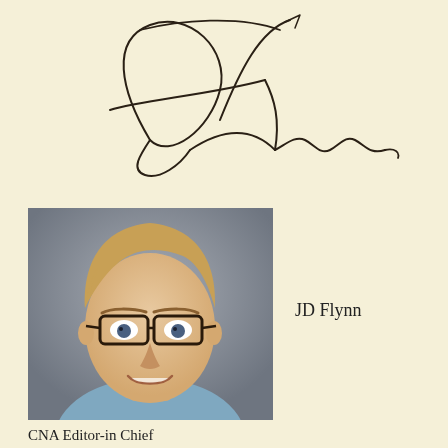[Figure (illustration): Handwritten signature of JD Flynn in black ink on cream background]
[Figure (photo): Headshot photo of JD Flynn, a man with short blonde-brown hair wearing glasses and a light blue sweater, smiling against a grey background]
JD Flynn
CNA Editor-in Chief
Catholic News Agency